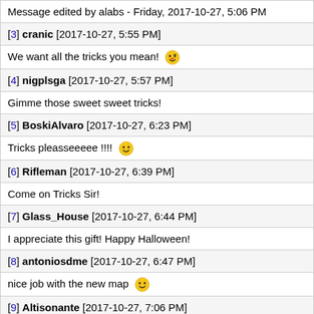Message edited by alabs - Friday, 2017-10-27, 5:06 PM
[3] cranic [2017-10-27, 5:55 PM]
We want all the tricks you mean! 😜
[4] nigplsga [2017-10-27, 5:57 PM]
Gimme those sweet sweet tricks!
[5] BoskiAlvaro [2017-10-27, 6:23 PM]
Tricks pleasseeeee !!!! 😊
[6] Rifleman [2017-10-27, 6:39 PM]
Come on Tricks Sir!
[7] Glass_House [2017-10-27, 6:44 PM]
I appreciate this gift! Happy Halloween!
[8] antoniosdme [2017-10-27, 6:47 PM]
nice job with the new map 😊
[9] Altisonante [2017-10-27, 7:06 PM]
Happy Halloween!
[10] hisgenli [2017-10-27, 7:12 PM]
Can i still get sth? xD
[11] henkievis20 [2017-10-27, 7:59 PM]
happy halloween!
[12] Dukro [2017-10-27, 8:57 PM]
A trick if I may so kind sir.
[13] jasieknms [2017-10-27, 9:16 PM]
Seems like a fun event.